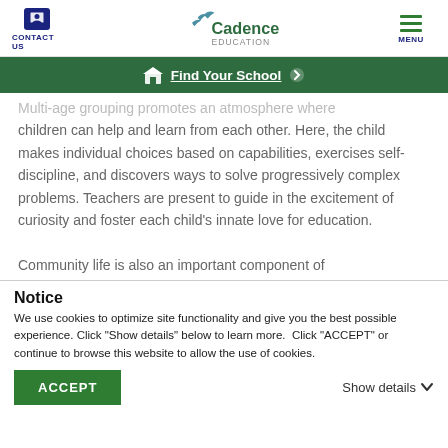CONTACT US | Cadence EDUCATION | MENU
Find Your School
Multi-age grouping promotes an atmosphere where children can help and learn from each other. Here, the child makes individual choices based on capabilities, exercises self-discipline, and discovers ways to solve progressively complex problems. Teachers are present to guide in the excitement of curiosity and foster each child's innate love for education. Community life is also an important component of
Notice
We use cookies to optimize site functionality and give you the best possible experience. Click "Show details" below to learn more.  Click "ACCEPT" or continue to browse this website to allow the use of cookies.
ACCEPT | Show details